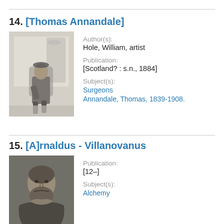14. [Thomas Annandale]
[Figure (illustration): Pencil sketch portrait of a man seated in a chair in a room, wearing a coat, with a bowl on a shelf in the background.]
Author(s): Hole, William, artist
Publication: [Scotland? : s.n., 1884]
Subject(s): Surgeons
Annandale, Thomas, 1839-1908.
15. [A]rnaldus - Villanovanus
[Figure (illustration): Dark engraved portrait of a bearded man wearing a cloak, facing slightly to the side.]
Publication: [12–]
Subject(s): Alchemy